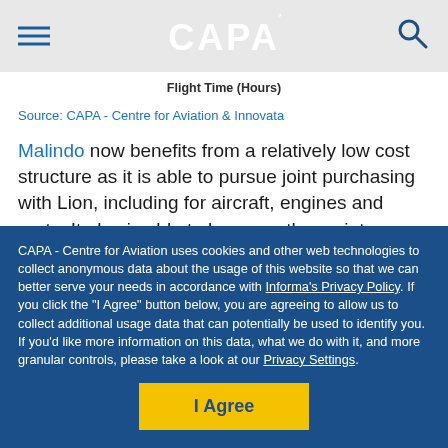CAPA
Flight Time (Hours)
Source: CAPA - Centre for Aviation & Innovata
Malindo now benefits from a relatively low cost structure as it is able to pursue joint purchasing with Lion, including for aircraft, engines and parts. It also is able to leverage the maintenance operation of its Malaysian owner, NADI, which owns a 51% stake in Malindo and has an MRO business with
CAPA - Centre for Aviation uses cookies and other web technologies to collect anonymous data about the usage of this website so that we can better serve your needs in accordance with Informa's Privacy Policy. If you click the "I Agree" button below, you are agreeing to allow us to collect additional usage data that can potentially be used to identify you. If you'd like more information on this data, what we do with it, and more granular controls, please take a look at our Privacy Settings.